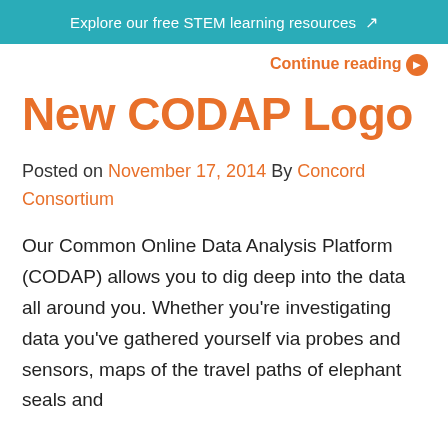Explore our free STEM learning resources ↗
Continue reading ➤
New CODAP Logo
Posted on November 17, 2014 By Concord Consortium
Our Common Online Data Analysis Platform (CODAP) allows you to dig deep into the data all around you. Whether you're investigating data you've gathered yourself via probes and sensors, maps of the travel paths of elephant seals and